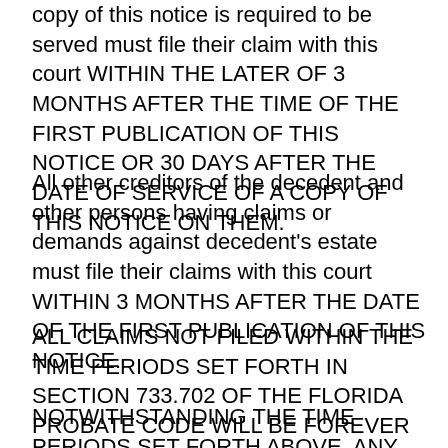copy of this notice is required to be served must file their claim with this court WITHIN THE LATER OF 3 MONTHS AFTER THE TIME OF THE FIRST PUBLICATION OF THIS NOTICE OR 30 DAYS AFTER THE DATE OF SERVICE OF A COPY OF THIS NOTICE ON THEM.
All other creditors of the decedent and other persons having claims or demands against decedent's estate must file their claims with this court WITHIN 3 MONTHS AFTER THE DATE OF THE FIRST PUBLICATION OF THIS NOTICE.
ALL CLAIMS NOT FILED WITHIN THE TIME PERIODS SET FORTH IN SECTION 733.702 OF THE FLORIDA PROBATE CODE WILL BE FOREVER BARRED.
NOTWITHSTANDING THE TIME PERIODS SET FORTH ABOVE, ANY CLAIM FILED TWO (2) YEARS OR MORE AFTER THE DECEDENT'S DATE OF DEATH IS